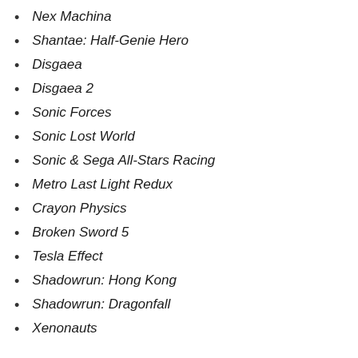Nex Machina
Shantae: Half-Genie Hero
Disgaea
Disgaea 2
Sonic Forces
Sonic Lost World
Sonic & Sega All-Stars Racing
Metro Last Light Redux
Crayon Physics
Broken Sword 5
Tesla Effect
Shadowrun: Hong Kong
Shadowrun: Dragonfall
Xenonauts